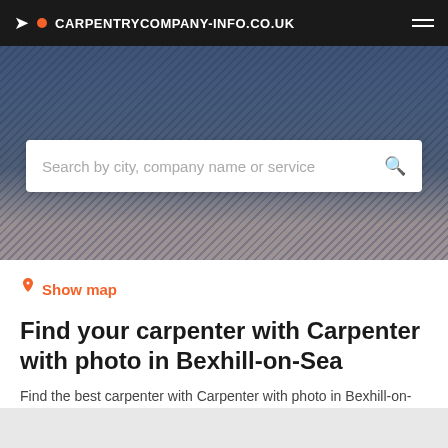CARPENTRYCOMPANY-INFO.CO.UK
[Figure (photo): Hero background image showing denim fabric with carpentry tools]
Search by city, company name or service
Show map
Find your carpenter with Carpenter with photo in Bexhill-on-Sea
Find the best carpenter with Carpenter with photo in Bexhill-on-Sea based on your criteria.
Filters